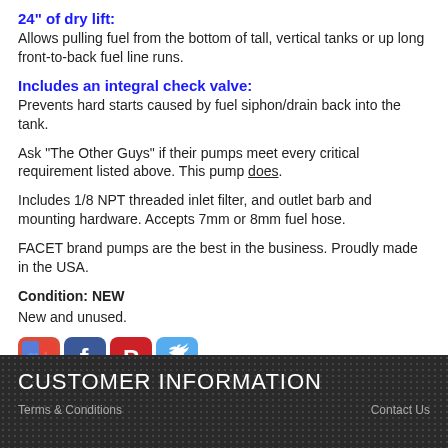24" of dry lift:
Allows pulling fuel from the bottom of tall, vertical tanks or up long front-to-back fuel line runs.
Includes an integral check valve:
Prevents hard starts caused by fuel siphon/drain back into the tank.
Ask "The Other Guys" if their pumps meet every critical requirement listed above. This pump does.
Includes 1/8 NPT threaded inlet filter, and outlet barb and mounting hardware. Accepts 7mm or 8mm fuel hose.
FACET brand pumps are the best in the business. Proudly made in the USA.
Condition: NEW
New and unused.
[Figure (illustration): Social media icons: Google+, Facebook, Pinterest, Twitter]
CUSTOMER INFORMATION
Terms & Conditions    Contact Us